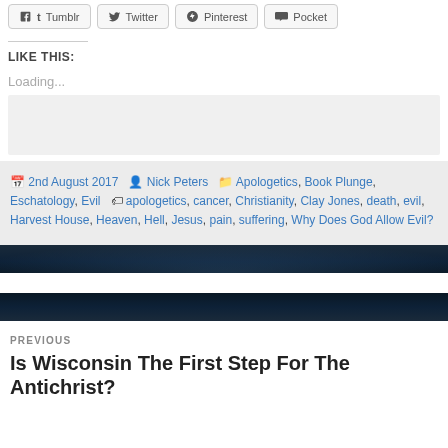[Figure (other): Social share buttons: Tumblr, Twitter, Pinterest, Pocket]
LIKE THIS:
Loading...
2nd August 2017  Nick Peters  Apologetics, Book Plunge, Eschatology, Evil  apologetics, cancer, Christianity, Clay Jones, death, evil, Harvest House, Heaven, Hell, Jesus, pain, suffering, Why Does God Allow Evil?
PREVIOUS
Is Wisconsin The First Step For The Antichrist?